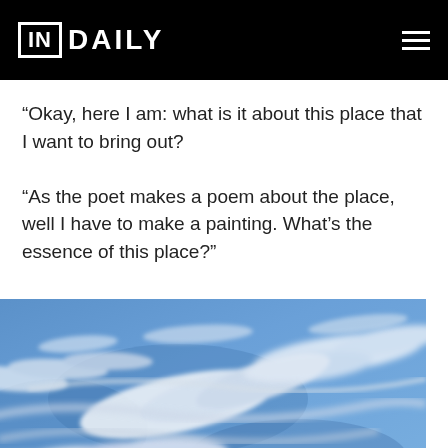IN DAILY
“Okay, here I am: what is it about this place that I want to bring out?

“As the poet makes a poem about the place, well I have to make a painting. What’s the essence of this place?”
[Figure (photo): A painting or photograph of a blue sky with wispy white clouds swirling across the canvas in a painterly style.]